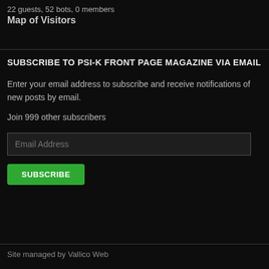22 guests, 52 bots, 0 members
Map of Visitors
SUBSCRIBE TO PSI-K FRONT PAGE MAGAZINE VIA EMAIL
Enter your email address to subscribe and receive notifications of new posts by email.
Join 999 other subscribers
Site managed by Vallico Web